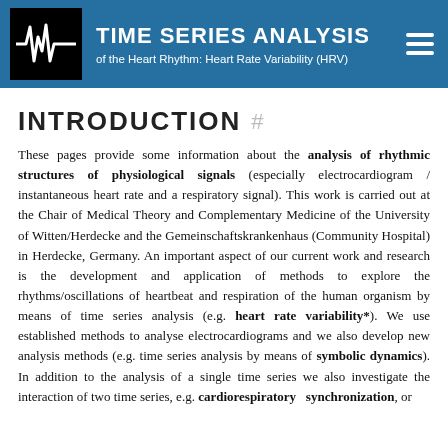TIME SERIES ANALYSIS of the Heart Rhythm: Heart Rate Variability (HRV)
INTRODUCTION
These pages provide some information about the analysis of rhythmic structures of physiological signals (especially electrocardiogram / instantaneous heart rate and a respiratory signal). This work is carried out at the Chair of Medical Theory and Complementary Medicine of the University of Witten/Herdecke and the Gemeinschaftskrankenhaus (Community Hospital) in Herdecke, Germany. An important aspect of our current work and research is the development and application of methods to explore the rhythms/oscillations of heartbeat and respiration of the human organism by means of time series analysis (e.g. heart rate variability*). We use established methods to analyse electrocardiograms and we also develop new analysis methods (e.g. time series analysis by means of symbolic dynamics). In addition to the analysis of a single time series we also investigate the interaction of two time series, e.g. cardiorespiratory synchronization, or